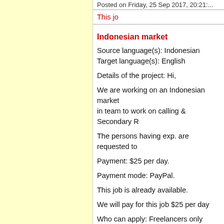Posted on Friday, 25 Sep 2017, 20:21:...
This jo...
Indonesian market...
Source language(s): Indonesian
Target language(s): English
Details of the project: Hi,
We are working on an Indonesian market... in team to work on calling & Secondary R...
The persons having exp. are requested to...
Payment: $25 per day.
Payment mode: PayPal.
This job is already available.
We will pay for this job $25 per day
Who can apply: Freelancers only
Deadline for applying: 06/05/2017
Keep this ad at the site permanently